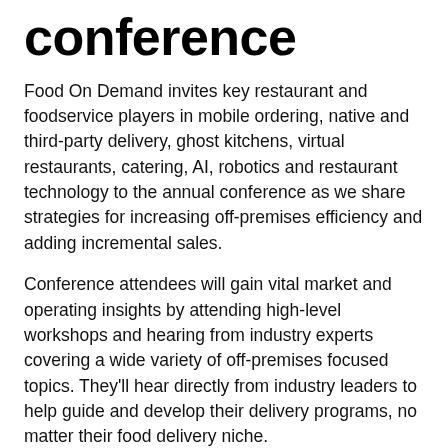conference
Food On Demand invites key restaurant and foodservice players in mobile ordering, native and third-party delivery, ghost kitchens, virtual restaurants, catering, AI, robotics and restaurant technology to the annual conference as we share strategies for increasing off-premises efficiency and adding incremental sales.
Conference attendees will gain vital market and operating insights by attending high-level workshops and hearing from industry experts covering a wide variety of off-premises focused topics. They'll hear directly from industry leaders to help guide and develop their delivery programs, no matter their food delivery niche.